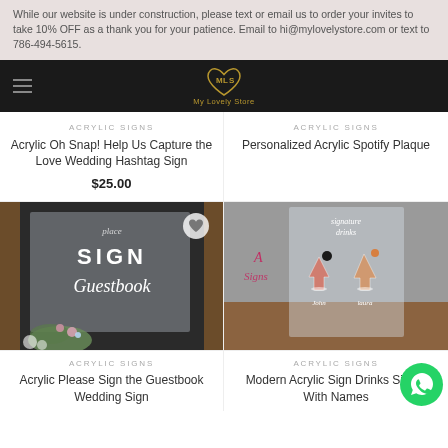While our website is under construction, please text or email us to order your invites to take 10% OFF as a thank you for your patience. Email to hi@mylovelystore.com or text to 786-494-5615.
[Figure (logo): My Lovely Store logo — gold heart outline with MLS monogram inside, on dark background navigation bar]
ACRYLIC SIGNS
Acrylic Oh Snap! Help Us Capture the Love Wedding Hashtag Sign
$25.00
ACRYLIC SIGNS
Personalized Acrylic Spotify Plaque
[Figure (photo): Acrylic guestbook wedding sign with cursive text, displayed against dark frame with white floral decor]
[Figure (photo): Modern acrylic drinks sign with illustrated cocktails and calligraphy names John and Laura on wooden surface]
ACRYLIC SIGNS
Acrylic Please Sign the Guestbook Wedding Sign
ACRYLIC SIGNS
Modern Acrylic Sign Drinks Sign – With Names